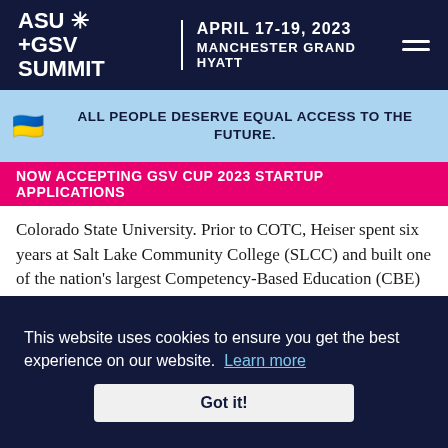ASU +GSV SUMMIT | APRIL 17-19, 2023 MANCHESTER GRAND HYATT
ALL PEOPLE DESERVE EQUAL ACCESS TO THE FUTURE.
NOW ACCEPTING GSV CUP 2023 STARTUP APPLICATIONS
Colorado State University. Prior to COTC, Heiser spent six years at Salt Lake Community College (SLCC) and built one of the nation's largest Competency-Based Education (CBE) Programs with a focus on serving underserved and disadvantaged students. He also created and established a procedure for NCCRS non-credit to credit conversion, which allows students to transfer non-credit studies towards associate degrees. He has delivered over three dozen conference presentations and key notes and published several articles on the topic of CBE and
This website uses cookies to ensure you get the best experience on our website. Learn more
Got it!